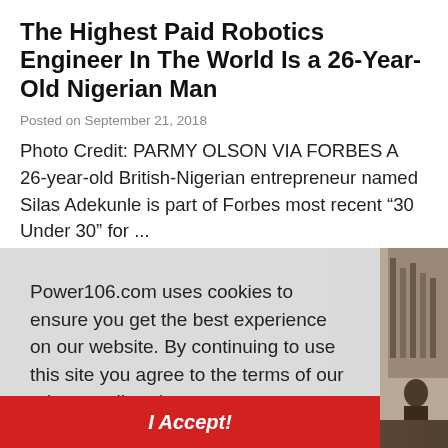The Highest Paid Robotics Engineer In The World Is a 26-Year-Old Nigerian Man
Posted on September 21, 2018
Photo Credit: PARMY OLSON VIA FORBES A 26-year-old British-Nigerian entrepreneur named Silas Adekunle is part of Forbes most recent “30 Under 30” for ...
[Figure (photo): Background photo partially visible behind cookie consent overlay, showing a person and what appears to be organ pipes in a church or hall setting]
Power106.com uses cookies to ensure you get the best experience on our website. By continuing to use this site you agree to the terms of our privacy policy.  Learn more
I Accept!